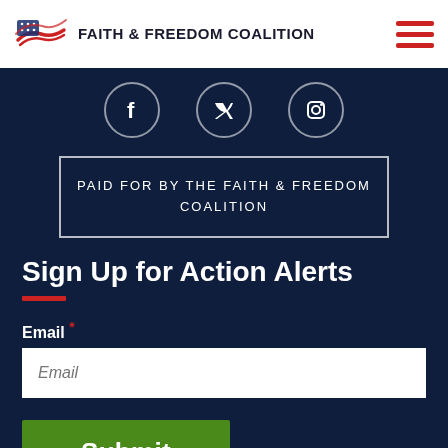FAITH & FREEDOM COALITION
[Figure (infographic): Social media icons: Facebook, Twitter, Instagram circles with white outlines on dark navy background]
PAID FOR BY THE FAITH & FREEDOM COALITION
Sign Up for Action Alerts
Email *
Submit